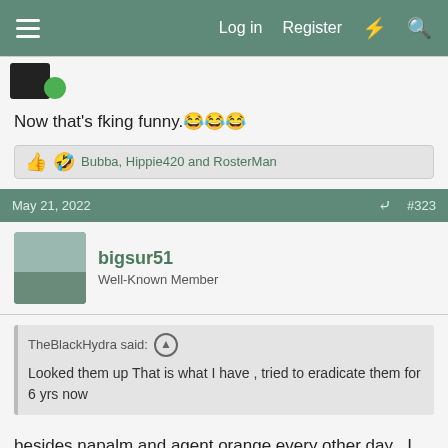Log in  Register
[Figure (photo): Two user avatars partially visible at top left]
Now that's fking funny. 😂😂😂
Bubba, Hippie420 and RosterMan
May 21, 2022  #323
bigsur51
Well-Known Member
TheBlackHydra said:
Looked them up That is what I have , tried to eradicate them for 6 yrs now
besides napalm and agent orange every other day , I have not heard of any way to eradicate these bass